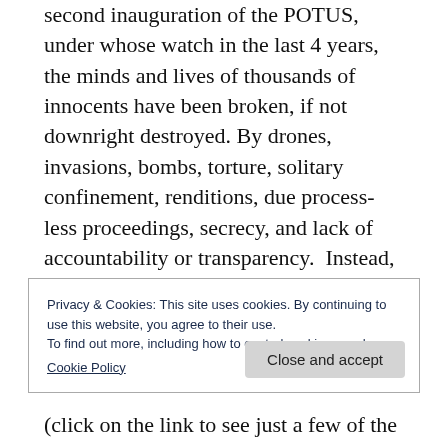second inauguration of the POTUS, under whose watch in the last 4 years, the minds and lives of thousands of innocents have been broken, if not downright destroyed. By drones, invasions, bombs, torture, solitary confinement, renditions, due process-less proceedings, secrecy, and lack of accountability or transparency.  Instead, I will be retracing the steps that have led to the amorality of the Democratic Party and the Presidential
Privacy & Cookies: This site uses cookies. By continuing to use this website, you agree to their use.
To find out more, including how to control cookies, see here:
Cookie Policy
(click on the link to see just a few of the actions